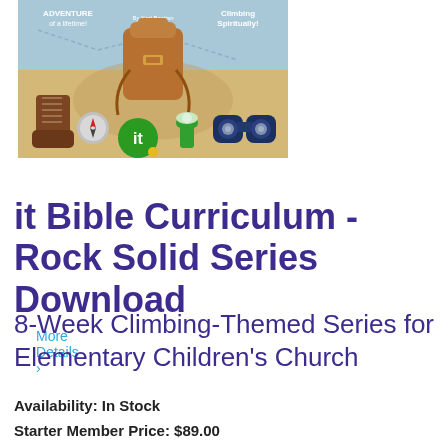[Figure (illustration): Book cover illustration for 'it Bible Curriculum - Rock Solid Series' showing a climbing-themed children's curriculum cover with a backpack, hiking boot, compass, green 'it' badge, flashlight, and binoculars on a tan/blue background. Text reads 'ADVENTURE of a lifetime!' and 'Climbing Spiritually!' with 'By Karl Bastian' as author.]
More Details ›
it Bible Curriculum - Rock Solid Series Download
8-Week Climbing-Themed Series for Elementary Children's Church
Availability: In Stock
Starter Member Price: $89.00